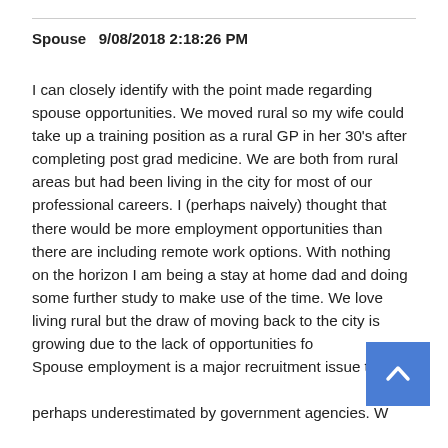Spouse   9/08/2018 2:18:26 PM
I can closely identify with the point made regarding spouse opportunities. We moved rural so my wife could take up a training position as a rural GP in her 30's after completing post grad medicine. We are both from rural areas but had been living in the city for most of our professional careers. I (perhaps naively) thought that there would be more employment opportunities than there are including remote work options. With nothing on the horizon I am being a stay at home dad and doing some further study to make use of the time. We love living rural but the draw of moving back to the city is growing due to the lack of opportunities for Spouse employment is a major recruitment issue that perhaps underestimated by government agencies. We medical friends who have left and others that won't come for